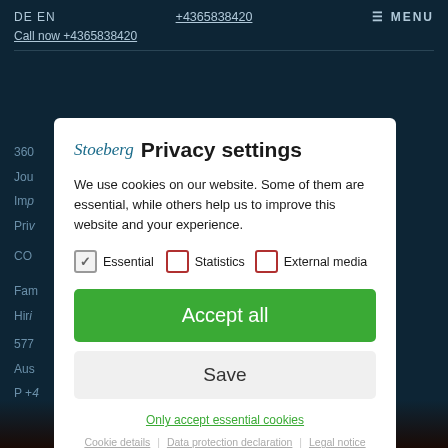DE EN  +4365838420  MENU
Call now +4365838420
[Figure (screenshot): Privacy settings modal dialog over a dark blue website background. Contains logo, title 'Privacy settings', descriptive text about cookies, checkboxes for Essential (checked), Statistics (unchecked), External media (unchecked), an 'Accept all' green button, a 'Save' grey button, and links for 'Only accept essential cookies', 'Cookie details', 'Data protection declaration', 'Legal notice'.]
Privacy settings
We use cookies on our website. Some of them are essential, while others help us to improve this website and your experience.
Essential
Statistics
External media
Accept all
Save
Only accept essential cookies
Cookie details | Data protection declaration | Legal notice